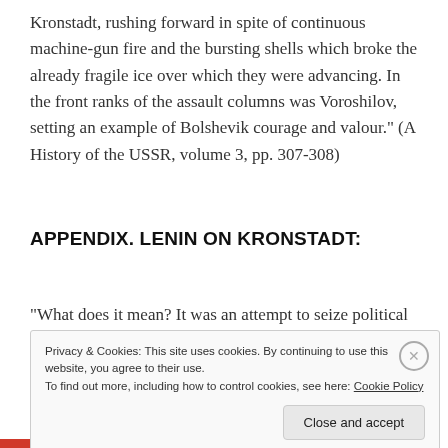Kronstadt, rushing forward in spite of continuous machine-gun fire and the bursting shells which broke the already fragile ice over which they were advancing. In the front ranks of the assault columns was Voroshilov, setting an example of Bolshevik courage and valour." (A History of the USSR, volume 3, pp. 307-308)
APPENDIX. LENIN ON KRONSTADT:
“What does it mean? It was an attempt to seize political power from the Bolsheviks by a motley crowd or alliance of ill-assorted elements, apparently just to the right of
Privacy & Cookies: This site uses cookies. By continuing to use this website, you agree to their use.
To find out more, including how to control cookies, see here: Cookie Policy
Close and accept